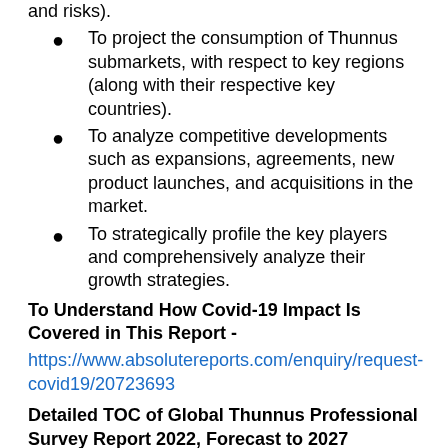and risks).
To project the consumption of Thunnus submarkets, with respect to key regions (along with their respective key countries).
To analyze competitive developments such as expansions, agreements, new product launches, and acquisitions in the market.
To strategically profile the key players and comprehensively analyze their growth strategies.
To Understand How Covid-19 Impact Is Covered in This Report -
https://www.absolutereports.com/enquiry/request-covid19/20723693
Detailed TOC of Global Thunnus Professional Survey Report 2022, Forecast to 2027
Table of Contents
Global Thunnus Professional Survey Report Report 2022, Forecast to 2027
1 Market Study Overview